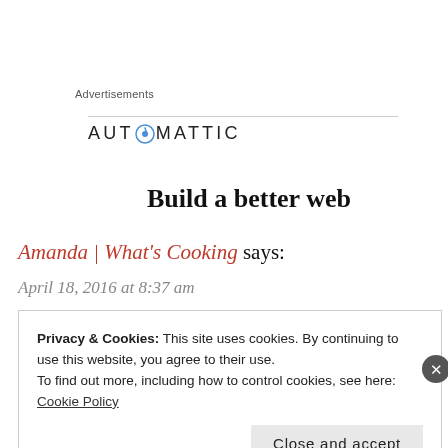Advertisements
[Figure (logo): Automattic logo with compass icon]
Build a better web
Amanda | What's Cooking says:
April 18, 2016 at 8:37 am
Privacy & Cookies: This site uses cookies. By continuing to use this website, you agree to their use.
To find out more, including how to control cookies, see here:
Cookie Policy

Close and accept